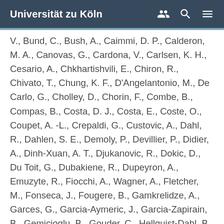Universität zu Köln
V., Bund, C., Bush, A., Caimmi, D. P., Calderon, M. A., Canovas, G., Cardona, V., Carlsen, K. H., Cesario, A., Chkhartishvili, E., Chiron, R., Chivato, T., Chung, K. F., D'Angelantonio, M., De Carlo, G., Cholley, D., Chorin, F., Combe, B., Compas, B., Costa, D. J., Costa, E., Coste, O., Coupet, A. -L., Crepaldi, G., Custovic, A., Dahl, R., Dahlen, S. E., Demoly, P., Devillier, P., Didier, A., Dinh-Xuan, A. T., Djukanovic, R., Dokic, D., Du Toit, G., Dubakiene, R., Dupeyron, A., Emuzyte, R., Fiocchi, A., Wagner, A., Fletcher, M., Fonseca, J., Fougere, B., Gamkrelidze, A., Garces, G., Garcia-Aymeric, J., Garcia-Zapirain, B., Gemicioglu, B., Gouder, C., Hellquist-Dahl, B., Hermosilla-Gimeno, I., Heve, D., Holland, C., Humbert, M., Hyland, M., Johnston, S. L., Just, J., Jutel, M., Kaidashev,